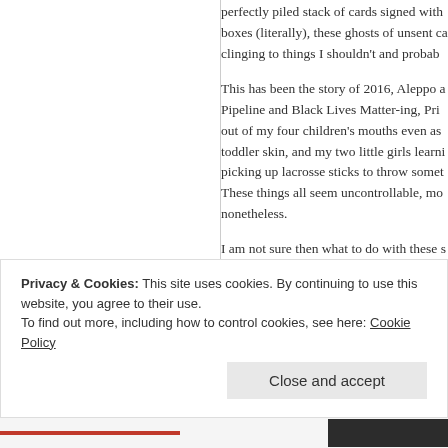perfectly piled stack of cards signed with... boxes (literally), these ghosts of unsent ca... clinging to things I shouldn't and probab...
This has been the story of 2016, Aleppo a... Pipeline and Black Lives Matter-ing, Pri... out of my four children's mouths even as... toddler skin, and my two little girls learni... picking up lacrosse sticks to throw somet... These things all seem uncontrollable, mo... nonetheless.
I am not sure then what to do with these s... these months, these years, this life. Do th... names and addresses, most obsolete, on s... who was barely thirty, who was me but re...
Privacy & Cookies: This site uses cookies. By continuing to use this website, you agree to their use.
To find out more, including how to control cookies, see here: Cookie Policy
Close and accept